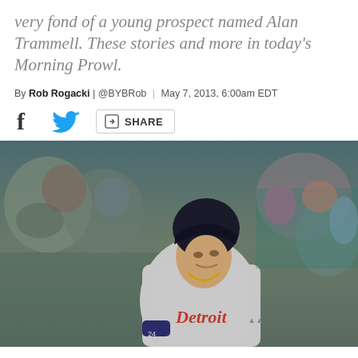very fond of a young prospect named Alan Trammell. These stories and more in today's Morning Prowl.
By Rob Rogacki | @BYBRob | May 7, 2013, 6:00am EDT
[Figure (other): Social share bar with Facebook, Twitter, and Share button icons]
[Figure (photo): Detroit Tigers baseball player in gray away uniform with number 24, looking up after hitting, crowd in background]